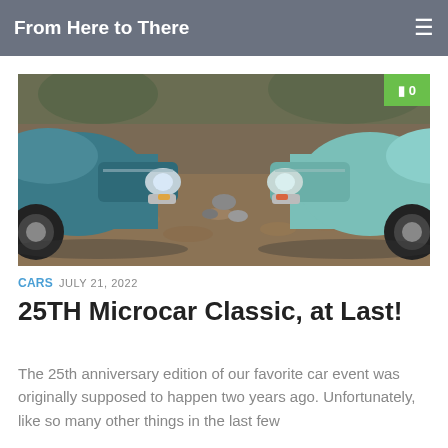From Here to There
[Figure (photo): Two classic Jaguar E-Type cars facing each other nose-to-nose, both in blue-green color, parked on ground covered with autumn leaves]
CARS  JULY 21, 2022
25TH Microcar Classic, at Last!
The 25th anniversary edition of our favorite car event was originally supposed to happen two years ago. Unfortunately, like so many other things in the last few